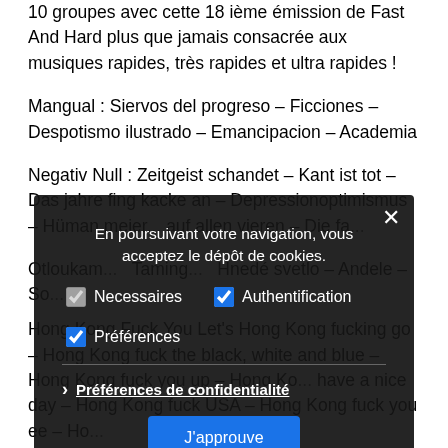10 groupes avec cette 18 ième émission de Fast And Hard plus que jamais consacrée aux musiques rapides, très rapides et ultra rapides !
Mangual : Siervos del progreso – Ficciones – Despotismo ilustrado – Emancipacion – Academia
Negativ Null : Zeitgeist schandet – Kant ist tot – Das jahre fing kacke an – Depressionoptimismus – Hüman meier... auf allen vieren – Die fa...
Otloukam... Taming... Hnedé svetlo – Andele – So...
En poursuivant votre navigation, vous acceptez le dépôt de cookies.
Necessaires | Authentification | Préférences
Préférences de confidentialité
J'approuve
Hong Kong Fuck You Let's Hong Kong fucking go – Hong Kong fuck the black, white and blue – Hong Kong fuck you up – Hong Ko... have a nice day – Hong Kong fuck USA – Hong Kong fuck you ee – Hoo...